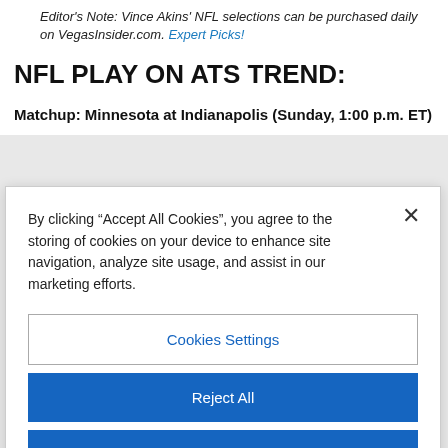Editor's Note: Vince Akins' NFL selections can be purchased daily on VegasInsider.com. Expert Picks!
NFL PLAY ON ATS TREND:
Matchup: Minnesota at Indianapolis (Sunday, 1:00 p.m. ET)
By clicking “Accept All Cookies”, you agree to the storing of cookies on your device to enhance site navigation, analyze site usage, and assist in our marketing efforts.
Cookies Settings
Reject All
Accept All Cookies